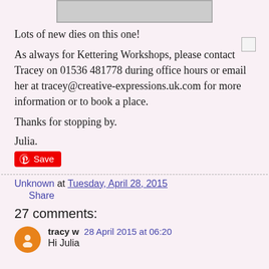[Figure (photo): Partial image visible at top of page, cropped, appears to show a craft/card project]
Lots of new dies on this one!
As always for Kettering Workshops, please contact Tracey on 01536 481778 during office hours or email her at tracey@creative-expressions.uk.com for more information or to book a place.
Thanks for stopping by.
Julia.
Unknown at Tuesday, April 28, 2015
Share
27 comments:
tracy w  28 April 2015 at 06:20
Hi Julia